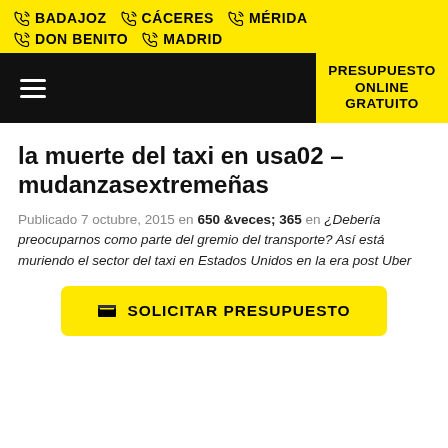BADAJOZ  CÁCERES  MÉRIDA  DON BENITO  MADRID
PRESUPUESTO ONLINE GRATUITO
la muerte del taxi en usa02 – mudanzasextremeñas
Publicado 7 octubre, 2015 en 650 &veces; 365 en ¿Debería preocuparnos como parte del gremio del transporte? Así está muriendo el sector del taxi en Estados Unidos en la era post Uber
SOLICITAR PRESUPUESTO